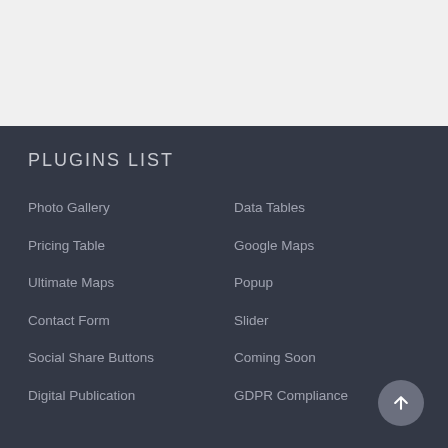PLUGINS LIST
Photo Gallery
Data Tables
Pricing Table
Google Maps
Ultimate Maps
Popup
Contact Form
Slider
Social Share Buttons
Coming Soon
Digital Publication
GDPR Compliance